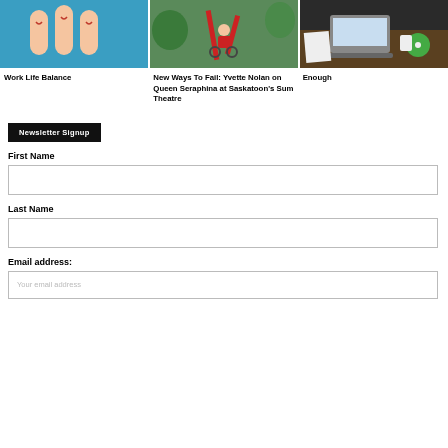[Figure (photo): Three fingers with smiley faces drawn on them against a blue background]
[Figure (photo): Person in a wheelchair wearing a red dress at an outdoor event with red sculptures]
[Figure (photo): Overhead view of a person working on a laptop with papers and a coffee cup]
Work Life Balance
New Ways To Fail: Yvette Nolan on Queen Seraphina at Saskatoon's Sum Theatre
Enough
Newsletter Signup
First Name
Last Name
Email address:
Your email address